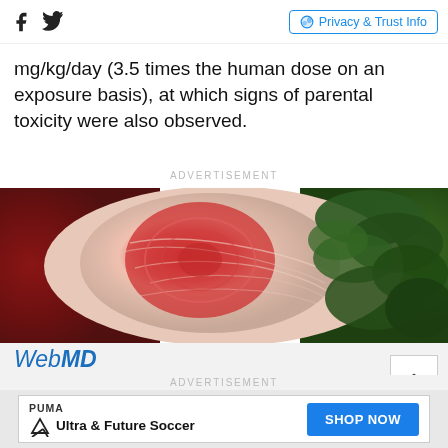Social icons (Facebook, Twitter) | Privacy & Trust Info
mg/kg/day (3.5 times the human dose on an exposure basis), at which signs of parental toxicity were also observed.
ADVERTISEMENT
[Figure (photo): Close-up photo of psoriasis plaque on human skin (elbow), showing red, inflamed, scaly skin with green foliage background.]
WebMD Sign up for our free Psoriasis Newsletter
Get doctor-approved health tips, news, and more
ADVERTISEMENT
[Figure (other): PUMA advertisement banner: Ultra & Future Soccer with SHOP NOW button]